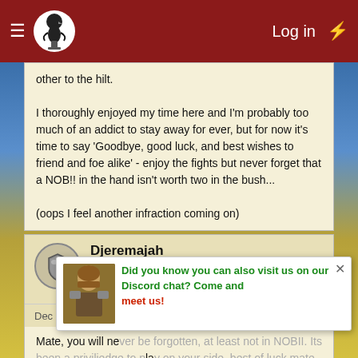≡ [logo] Log in ⚡
other to the hilt.
I thoroughly enjoyed my time here and I'm probably too much of an addict to stay away for ever, but for now it's time to say 'Goodbye, good luck, and best wishes to friend and foe alike' - enjoy the fights but never forget that a NOB!! in the hand isn't worth two in the bush...
(oops I feel another infraction coming on)
Djeremajah
Guest
Dec 23, 2009  #267
Mate, you will never be forgotten, at least not in NOBII. Its been a priviliedge to play on your side. best of luck mate.
Areyaen
Guest
[Figure (infographic): Discord promotion popup overlay: character image on left, green and red text reading 'Did you know you can also visit us on our Discord chat? Come and meet us!' with X close button]